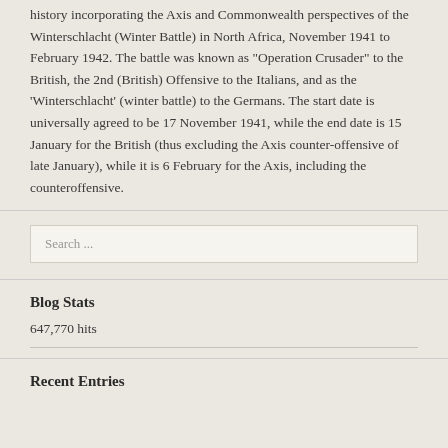history incorporating the Axis and Commonwealth perspectives of the Winterschlacht (Winter Battle) in North Africa, November 1941 to February 1942. The battle was known as "Operation Crusader" to the British, the 2nd (British) Offensive to the Italians, and as the 'Winterschlacht' (winter battle) to the Germans. The start date is universally agreed to be 17 November 1941, while the end date is 15 January for the British (thus excluding the Axis counter-offensive of late January), while it is 6 February for the Axis, including the counteroffensive.
Search ...
Blog Stats
647,770 hits
Recent Entries